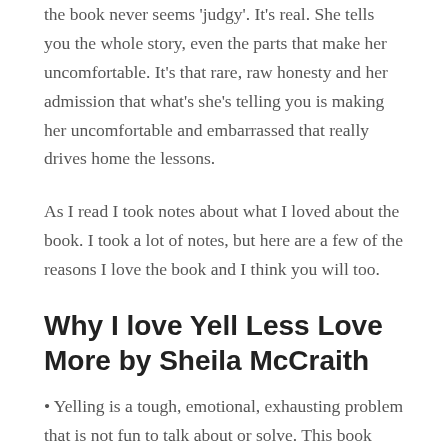the book never seems 'judgy'. It's real. She tells you the whole story, even the parts that make her uncomfortable. It's that rare, raw honesty and her admission that what's she's telling you is making her uncomfortable and embarrassed that really drives home the lessons.
As I read I took notes about what I loved about the book. I took a lot of notes, but here are a few of the reasons I love the book and I think you will too.
Why I love Yell Less Love More by Sheila McCraith
• Yelling is a tough, emotional, exhausting problem that is not fun to talk about or solve. This book makes it fun.